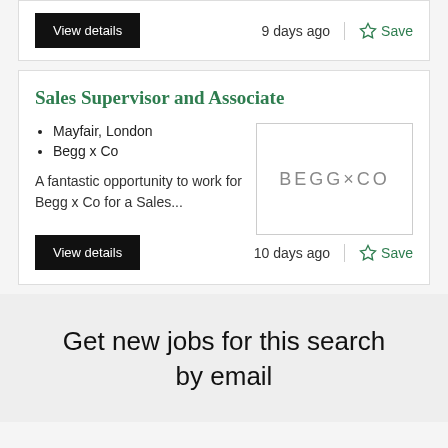View details   9 days ago   Save
Sales Supervisor and Associate
Mayfair, London
Begg x Co
A fantastic opportunity to work for Begg x Co for a Sales...
[Figure (logo): Begg x Co logo — text reading BEGG×CO in grey spaced letters]
View details   10 days ago   Save
Get new jobs for this search by email